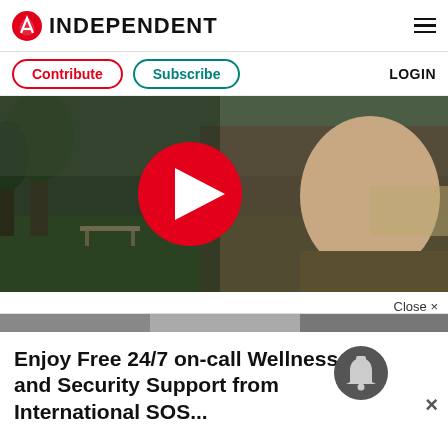INDEPENDENT
Contribute  Subscribe  LOGIN
[Figure (screenshot): Video thumbnail showing a man outdoors with a large red play button overlay]
Close ×
Enjoy Free 24/7 on-call Wellness and Security Support from International SOS...